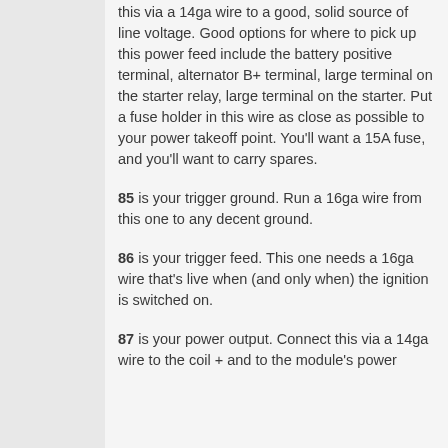this via a 14ga wire to a good, solid source of line voltage. Good options for where to pick up this power feed include the battery positive terminal, alternator B+ terminal, large terminal on the starter relay, large terminal on the starter. Put a fuse holder in this wire as close as possible to your power takeoff point. You'll want a 15A fuse, and you'll want to carry spares.
85 is your trigger ground. Run a 16ga wire from this one to any decent ground.
86 is your trigger feed. This one needs a 16ga wire that's live when (and only when) the ignition is switched on.
87 is your power output. Connect this via a 14ga wire to the coil + and to the module's power